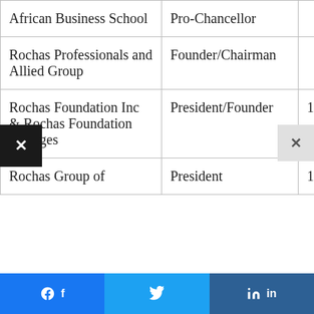|  |  |  |
| --- | --- | --- |
| African Business School | Pro-Chancellor |  |
| Rochas Professionals and Allied Group | Founder/Chairman |  |
| Rochas Foundation Inc & Rochas Foundation Colleges | President/Founder | 1998 |
| Rochas Group of | President | 1987 |